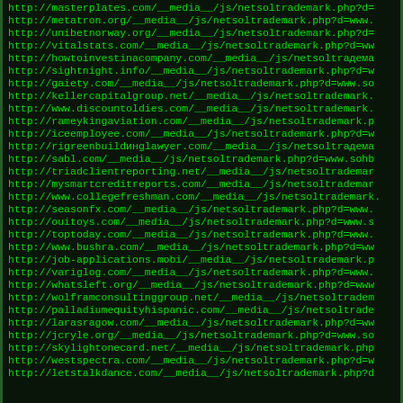http://masterplates.com/__media__/js/netsoltrademark.php?d=
http://metatron.org/__media__/js/netsoltrademark.php?d=www.
http://unibetnorway.org/__media__/js/netsoltrademark.php?d=
http://vitalstats.com/__media__/js/netsoltrademark.php?d=ww
http://howtoinvestinacompany.com/__media__/js/netsoltrадема
http://sightnight.info/__media__/js/netsoltrademark.php?d=w
http://gaiety.com/__media__/js/netsoltrademark.php?d=www.so
http://kellercapitalgroup.net/__media__/js/netsoltrademark.
http://www.discountoldies.com/__media__/js/netsoltrademark.
http://rameykingaviation.com/__media__/js/netsoltrademark.p
http://iceemployee.com/__media__/js/netsoltrademark.php?d=w
http://rigreenbuildинglawyer.com/__media__/js/netsoltrадема
http://sabl.com/__media__/js/netsoltrademark.php?d=www.sohb
http://triadclientreporting.net/__media__/js/netsoltrademar
http://mysmartcreditreports.com/__media__/js/netsoltrademar
http://www.collegefreshman.com/__media__/js/netsoltrademark.
http://seasonfx.com/__media__/js/netsoltrademark.php?d=www.
http://ouitoys.com/__media__/js/netsoltrademark.php?d=www.s
http://toptoday.com/__media__/js/netsoltrademark.php?d=www.
http://www.bushra.com/__media__/js/netsoltrademark.php?d=ww
http://job-applications.mobi/__media__/js/netsoltrademark.p
http://variglog.com/__media__/js/netsoltrademark.php?d=www.
http://whatsleft.org/__media__/js/netsoltrademark.php?d=www
http://wolframconsultinggroup.net/__media__/js/netsoltradem
http://palladiumequityhispanic.com/__media__/js/netsoltrаde
http://larasragow.com/__media__/js/netsoltrademark.php?d=ww
http://jcryle.org/__media__/js/netsoltrademark.php?d=www.so
http://skylightonecard.net/__media__/js/netsoltrademark.php
http://westspectra.com/__media__/js/netsoltrademark.php?d=w
http://letstalkdance.com/__media__/js/netsoltrademark.php?d